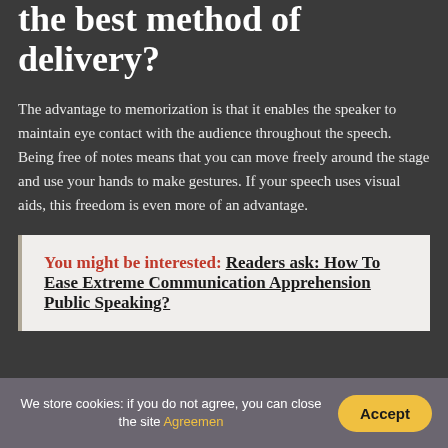the best method of delivery?
The advantage to memorization is that it enables the speaker to maintain eye contact with the audience throughout the speech. Being free of notes means that you can move freely around the stage and use your hands to make gestures. If your speech uses visual aids, this freedom is even more of an advantage.
You might be interested: Readers ask: How To Ease Extreme Communication Apprehension Public Speaking?
We store cookies: if you do not agree, you can close the site Agreemen  Accept